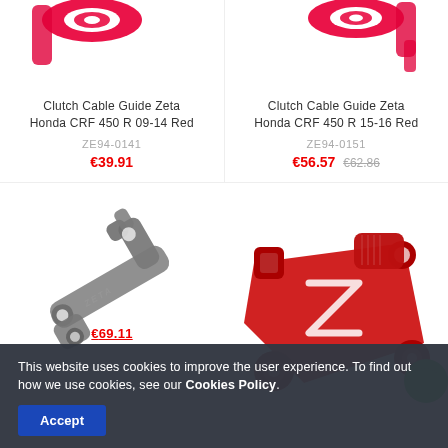[Figure (photo): Partial top view of red Clutch Cable Guide Zeta Honda CRF 450 R 09-14 Red product]
[Figure (photo): Partial top view of red Clutch Cable Guide Zeta Honda CRF 450 R 15-16 Red product]
Clutch Cable Guide Zeta Honda CRF 450 R 09-14 Red
ZE94-0141
€39.91
Clutch Cable Guide Zeta Honda CRF 450 R 15-16 Red
ZE94-0151
€56.57 €62.86
[Figure (photo): Grey Zeta clutch cable guide part, angled view showing ZETA branding]
[Figure (photo): Red Zeta clutch cable guide part with Z logo, angled view]
€69.11
This website uses cookies to improve the user experience. To find out how we use cookies, see our Cookies Policy.
Accept